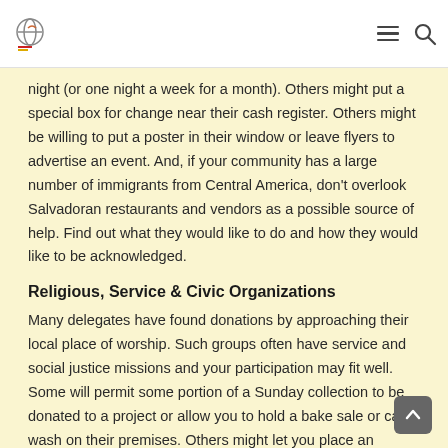[Logo] [Hamburger menu] [Search icon]
night (or one night a week for a month). Others might put a special box for change near their cash register. Others might be willing to put a poster in their window or leave flyers to advertise an event. And, if your community has a large number of immigrants from Central America, don't overlook Salvadoran restaurants and vendors as a possible source of help. Find out what they would like to do and how they would like to be acknowledged.
Religious, Service & Civic Organizations
Many delegates have found donations by approaching their local place of worship. Such groups often have service and social justice missions and your participation may fit well. Some will permit some portion of a Sunday collection to be donated to a project or allow you to hold a bake sale or car wash on their premises. Others might let you place an appeal in their monthly newsletter or make an appeal after a service.